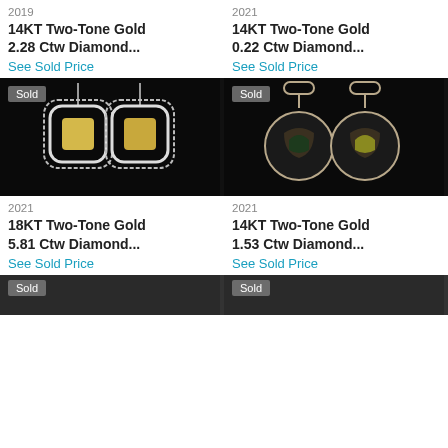2019
14KT Two-Tone Gold 2.28 Ctw Diamond...
See Sold Price
2021
14KT Two-Tone Gold 0.22 Ctw Diamond...
See Sold Price
[Figure (photo): Yellow diamond drop earrings in white gold double halo setting on black background, with Sold badge]
[Figure (photo): Round drop earrings with enamel and diamond accents on black background, with Sold badge]
2021
18KT Two-Tone Gold 5.81 Ctw Diamond...
See Sold Price
2021
14KT Two-Tone Gold 1.53 Ctw Diamond...
See Sold Price
[Figure (photo): Partial view of jewelry on dark background, left column]
[Figure (photo): Partial view of jewelry on dark background, right column]